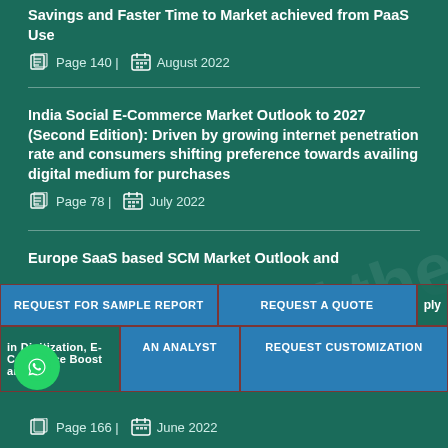Savings and Faster Time to Market achieved from PaaS Use
Page 140 | August 2022
India Social E-Commerce Market Outlook to 2027 (Second Edition): Driven by growing internet penetration rate and consumers shifting preference towards availing digital medium for purchases
Page 78 | July 2022
Europe SaaS based SCM Market Outlook and
ply
in Digitization, E-Commerce Boost and EU
Page 166 | June 2022
REQUEST FOR SAMPLE REPORT
REQUEST A QUOTE
AN ANALYST
REQUEST CUSTOMIZATION